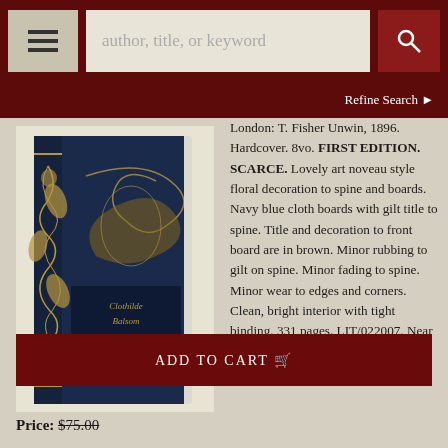[Figure (screenshot): Website navigation bar with hamburger menu, search input box reading 'author, title, or keyword', and search button]
Refine Search ❯
[Figure (photo): Antique book with navy blue cloth boards and gold art nouveau floral decoration on the spine, title reads 'Clothilde Balsom']
London: T. Fisher Unwin, 1896. Hardcover. 8vo. FIRST EDITION. SCARCE. Lovely art noveau style floral decoration to spine and boards. Navy blue cloth boards with gilt title to spine. Title and decoration to front board are in brown. Minor rubbing to gilt on spine. Minor fading to spine. Minor wear to edges and corners. Clean, bright interior with tight binding. 331 pages. LIT/022007. Near Fine. More ❯
ADD TO CART 🛒
Price: $75.00